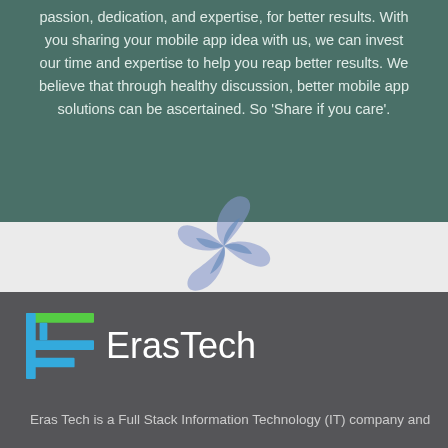passion, dedication, and expertise, for better results. With you sharing your mobile app idea with us, we can invest our time and expertise to help you reap better results. We believe that through healthy discussion, better mobile app solutions can be ascertained. So 'Share if you care'.
[Figure (logo): Spiral swirl logo mark in blue tones, overlapping the boundary between the teal section above and the dark grey section below.]
[Figure (logo): Eras Tech logo with stylized ET icon in teal/green/blue and white text reading 'Eras Tech']
Eras Tech is a Full Stack Information Technology (IT) company and